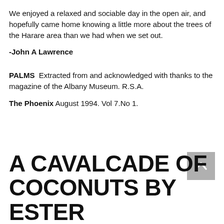We enjoyed a relaxed and sociable day in the open air, and hopefully came home knowing a little more about the trees of the Harare area than we had when we set out.
-John A Lawrence
PALMS  Extracted from and acknowledged with thanks to the magazine of the Albany Museum. R.S.A.
The Phoenix August 1994. Vol 7.No 1.
A CAVALCADE OF COCONUTS BY ESTER...